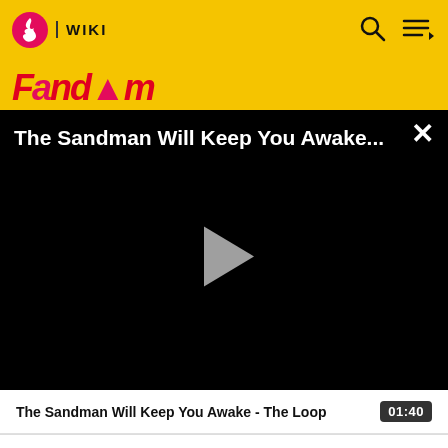WIKI | Fandom
[Figure (screenshot): Video player showing 'The Sandman Will Keep You Awake...' with a play button on black background and close (X) button]
The Sandman Will Keep You Awake - The Loop  01:40
| FULL NAME | Sylvia Mercury First |
| --- | --- |
| FURIGANA | シルヴィアマーキュリーファースト |